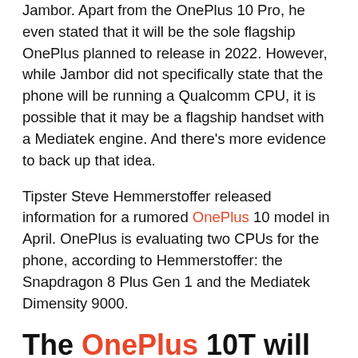Jambor. Apart from the OnePlus 10 Pro, he even stated that it will be the sole flagship OnePlus planned to release in 2022. However, while Jambor did not specifically state that the phone will be running a Qualcomm CPU, it is possible that it may be a flagship handset with a Mediatek engine. And there's more evidence to back up that idea.
Tipster Steve Hemmerstoffer released information for a rumored OnePlus 10 model in April. OnePlus is evaluating two CPUs for the phone, according to Hemmerstoffer: the Snapdragon 8 Plus Gen 1 and the Mediatek Dimensity 9000.
The OnePlus 10T will have no Snapdragon chip
So, from where we're standing, the OnePlus 10T might come with either MediaTek's flagship SoC or...